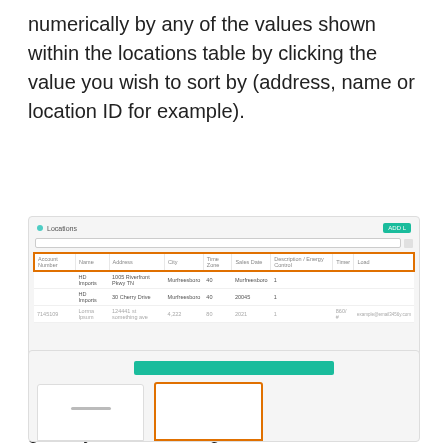numerically by any of the values shown within the locations table by clicking the value you wish to sort by (address, name or location ID for example).
[Figure (screenshot): Screenshot of a Locations table interface showing a table header row highlighted in an orange border, with columns for Account Number, Name, Address, City, Time Zone, Sales Date, Description, Energy Control, Timer, and Load. Three data rows are visible beneath the header.]
If you would like to change the information shown in the locations table select the small gear symbol to the right of the search bar and select the values you would like to appear in your table.
[Figure (screenshot): Partial screenshot showing the bottom of a UI panel with a teal/green button bar at top and two panel cards below, one with an orange border highlight.]